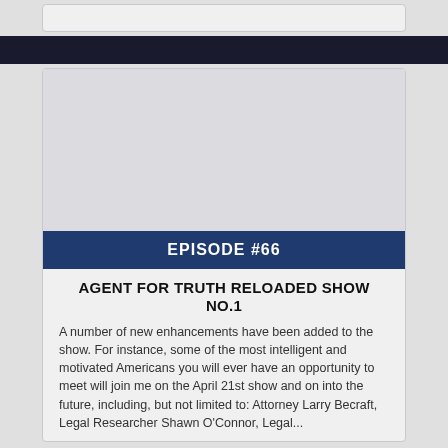EPISODE #66
AGENT FOR TRUTH RELOADED SHOW NO.1
A number of new enhancements have been added to the show. For instance, some of the most intelligent and motivated Americans you will ever have an opportunity to meet will join me on the April 21st show and on into the future, including, but not limited to: Attorney Larry Becraft, Legal Researcher Shawn O'Connor, Legal...
LISTEN NOW
AIRED: 04-21-2018